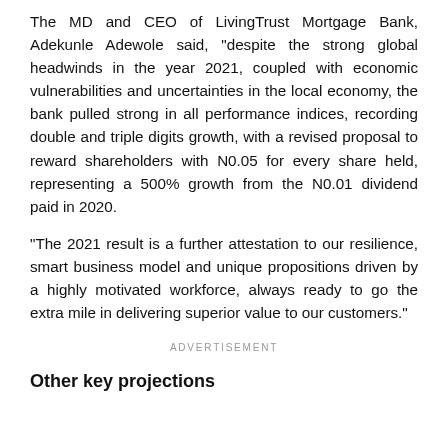The MD and CEO of LivingTrust Mortgage Bank, Adekunle Adewole said, "despite the strong global headwinds in the year 2021, coupled with economic vulnerabilities and uncertainties in the local economy, the bank pulled strong in all performance indices, recording double and triple digits growth, with a revised proposal to reward shareholders with N0.05 for every share held, representing a 500% growth from the N0.01 dividend paid in 2020.
"The 2021 result is a further attestation to our resilience, smart business model and unique propositions driven by a highly motivated workforce, always ready to go the extra mile in delivering superior value to our customers."
ADVERTISEMENT
Other key projections